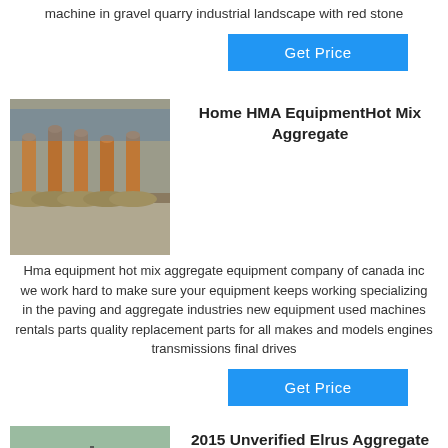machine in gravel quarry industrial landscape with red stone
Get Price
[Figure (photo): Industrial HMA equipment with cylindrical metal posts on flat circular bases]
Home HMA EquipmentHot Mix Aggregate
Hma equipment hot mix aggregate equipment company of canada inc we work hard to make sure your equipment keeps working specializing in the paving and aggregate industries new equipment used machines rentals parts quality replacement parts for all makes and models engines transmissions final drives
Get Price
[Figure (photo): Elrus aggregate crushing equipment at a remote site with scaffolding structure]
2015 Unverified Elrus Aggregate Crushing Spread In
Used elrus portable cone crusher plant in remote site nearest town is gilliam manitoba canada for sale seller supplied information please see